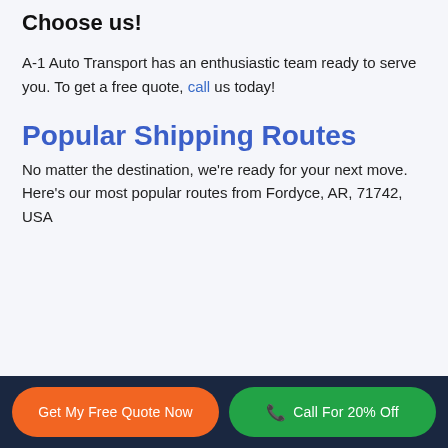Choose us!
A-1 Auto Transport has an enthusiastic team ready to serve you. To get a free quote, call us today!
Popular Shipping Routes
No matter the destination, we're ready for your next move.
Here's our most popular routes from Fordyce, AR, 71742, USA
Get My Free Quote Now | Call For 20% Off